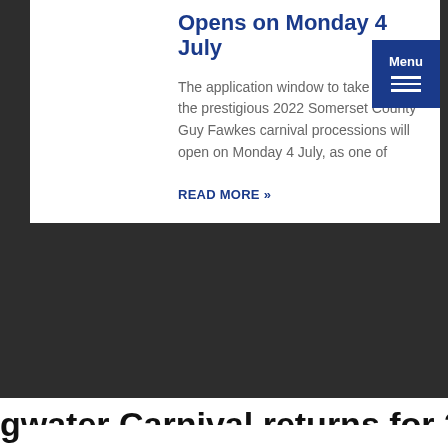Opens on Monday 4 July
The application window to take part in the prestigious 2022 Somerset County Guy Fawkes carnival processions will open on Monday 4 July, as one of
READ MORE »
[Figure (screenshot): Menu button — dark blue square with 'Menu' text and three horizontal lines (hamburger icon)]
We use cookies on our website to give you the most relevant experience by remembering your preferences and repeat visits. By clicking "Accept All", you consent to the use of ALL the cookies. However, you may visit "Cookie Settings" to provide a controlled consent.
Cookie Settings   Accept All
senter
on with
lub
gwater Carnival returns for 2022